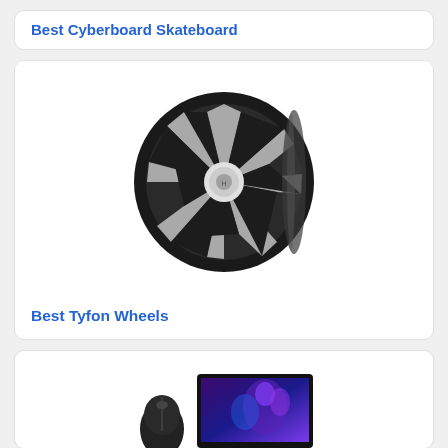Best Cyberboard Skateboard
[Figure (photo): Black and silver alloy wheel with angular spoke design, Tyfon brand]
Best Tyfon Wheels
[Figure (photo): Gaming mouse and gaming monitor with purple/blue fantasy character wallpaper]